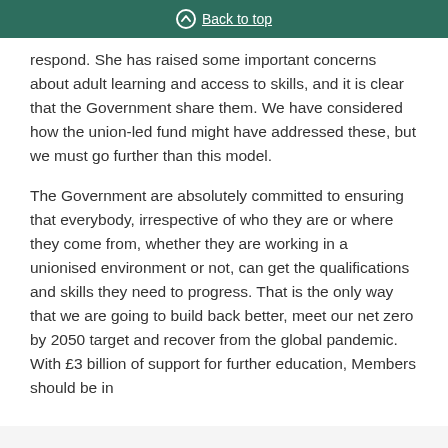Back to top
respond. She has raised some important concerns about adult learning and access to skills, and it is clear that the Government share them. We have considered how the union-led fund might have addressed these, but we must go further than this model.
The Government are absolutely committed to ensuring that everybody, irrespective of who they are or where they come from, whether they are working in a unionised environment or not, can get the qualifications and skills they need to progress. That is the only way that we are going to build back better, meet our net zero by 2050 target and recover from the global pandemic. With £3 billion of support for further education, Members should be in